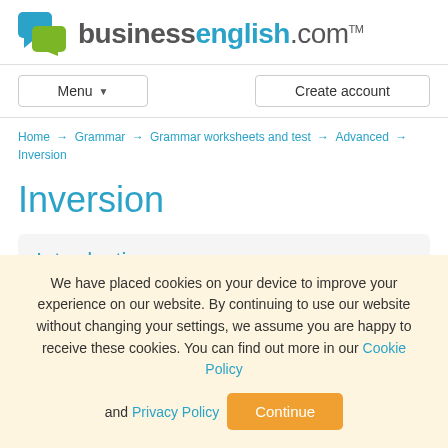[Figure (logo): businessenglish.com logo with chat bubble icons in teal and green]
Menu ▾
Create account
Home → Grammar → Grammar worksheets and test → Advanced → Inversion
Inversion
Introduction
We have placed cookies on your device to improve your experience on our website. By continuing to use our website without changing your settings, we assume you are happy to receive these cookies. You can find out more in our Cookie Policy and Privacy Policy